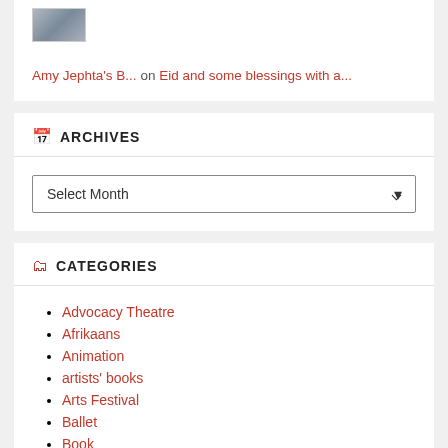[Figure (photo): Small thumbnail image of a person]
Amy Jephta's B... on Eid and some blessings with a...
ARCHIVES
Select Month
CATEGORIES
Advocacy Theatre
Afrikaans
Animation
artists' books
Arts Festival
Ballet
Book